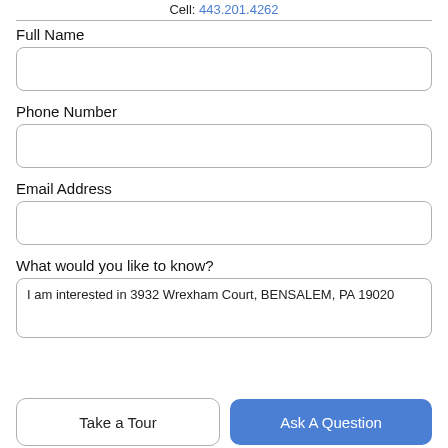Cell: 443.201.4262
Full Name
Phone Number
Email Address
What would you like to know?
I am interested in 3932 Wrexham Court, BENSALEM, PA 19020
Take a Tour
Ask A Question